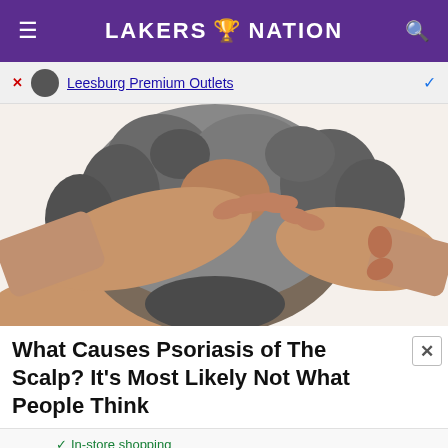LAKERS 🏆 NATION
[Figure (other): Advertisement banner showing Leesburg Premium Outlets logo and text in blue, with close (X) button on left and checkmark on right]
[Figure (photo): Close-up photo of an elderly person scratching their scalp with both hands, gray curly hair visible from behind]
What Causes Psoriasis of The Scalp? It's Most Likely Not What People Think
[Figure (other): Bottom advertisement showing In-store shopping checkmark, circular logo icon, navigation arrow icon, and partial text 'Save Up to 65%']